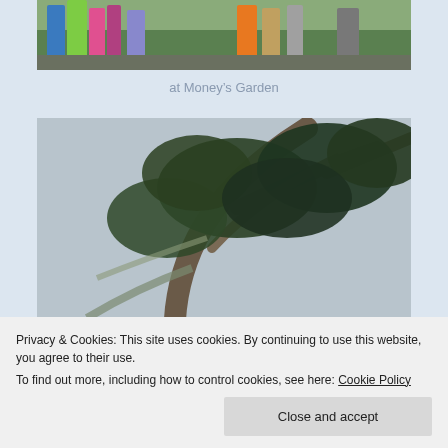[Figure (photo): Group of hikers standing outdoors among green vegetation, wearing colourful rain gear and hiking clothing]
at Money's Garden
[Figure (photo): Looking up at a large twisted tree with dark dense foliage against a grey overcast sky]
[Figure (photo): Partial view of a person outdoors, bottom of page]
Privacy & Cookies: This site uses cookies. By continuing to use this website, you agree to their use.
To find out more, including how to control cookies, see here: Cookie Policy
Close and accept